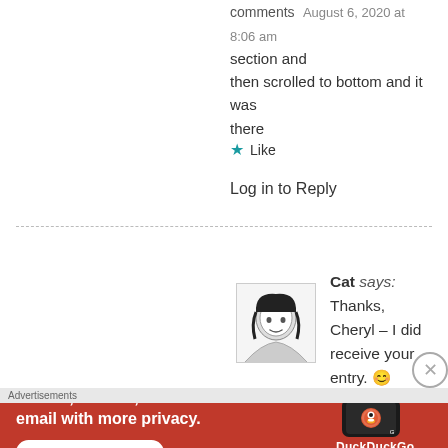comments   August 6, 2020 at 8:06 am
section and
then scrolled to bottom and it was there
★ Like
Log in to Reply
Cat says:
Thanks, Cheryl – I did receive your entry. 😊
[Figure (other): DuckDuckGo advertisement banner with phone image, text: Search, browse, and email with more privacy. All in One Free App.]